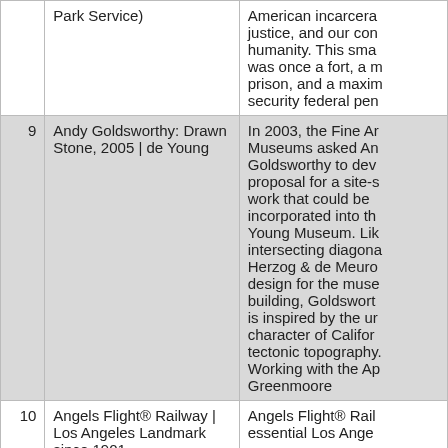| # | Title | Description |
| --- | --- | --- |
|  | Park Service) | American incarcera justice, and our con humanity. This sma was once a fort, a m prison, and a maxim security federal pen |
| 9 | Andy Goldsworthy: Drawn Stone, 2005 | de Young | In 2003, the Fine Ar Museums asked An Goldsworthy to dev proposal for a site-s work that could be incorporated into th Young Museum. Lik intersecting diagona Herzog & de Meuro design for the muse building, Goldswort is inspired by the ur character of Califor tectonic topography. Working with the Ap Greenmoore |
| 10 | Angels Flight® Railway | Los Angeles Landmark since 1901 | Angels Flight® Rail essential Los Ange |